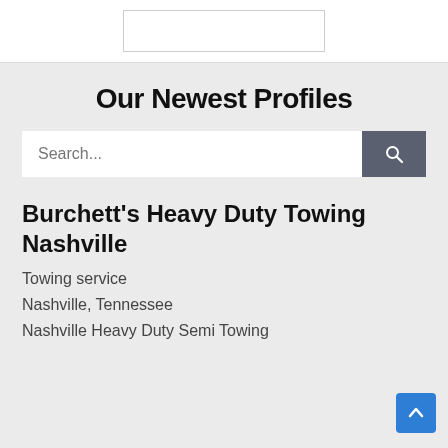[Figure (screenshot): White box/input field at top of page]
Our Newest Profiles
[Figure (screenshot): Search bar with placeholder text 'Search...' and a dark search button with magnifying glass icon]
Burchett's Heavy Duty Towing Nashville
Towing service
Nashville, Tennessee
Nashville Heavy Duty Semi Towing